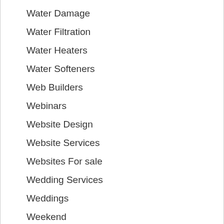Water Damage
Water Filtration
Water Heaters
Water Softeners
Web Builders
Webinars
Website Design
Website Services
Websites For sale
Wedding Services
Weddings
Weekend
Weekly
Weekly Ads
Weekly Specials